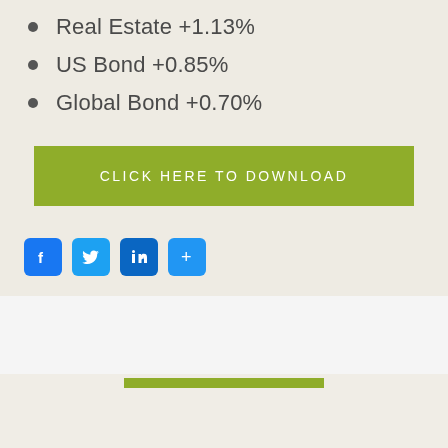Real Estate +1.13%
US Bond +0.85%
Global Bond +0.70%
[Figure (other): Green download button with text CLICK HERE TO DOWNLOAD]
[Figure (other): Social media share icons: Facebook, Twitter, LinkedIn, Share (add)]